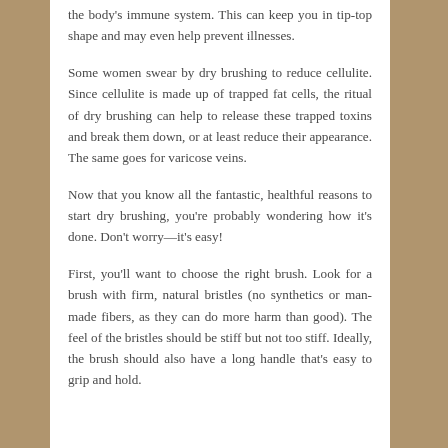the body's immune system. This can keep you in tip-top shape and may even help prevent illnesses.
Some women swear by dry brushing to reduce cellulite. Since cellulite is made up of trapped fat cells, the ritual of dry brushing can help to release these trapped toxins and break them down, or at least reduce their appearance. The same goes for varicose veins.
Now that you know all the fantastic, healthful reasons to start dry brushing, you're probably wondering how it's done. Don't worry—it's easy!
First, you'll want to choose the right brush. Look for a brush with firm, natural bristles (no synthetics or man-made fibers, as they can do more harm than good). The feel of the bristles should be stiff but not too stiff. Ideally, the brush should also have a long handle that's easy to grip and hold.